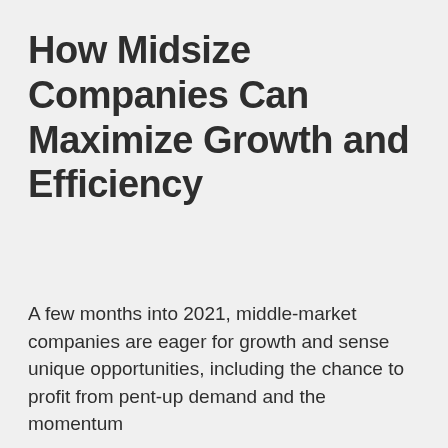How Midsize Companies Can Maximize Growth and Efficiency
A few months into 2021, middle-market companies are eager for growth and sense unique opportunities, including the chance to profit from pent-up demand and the momentum